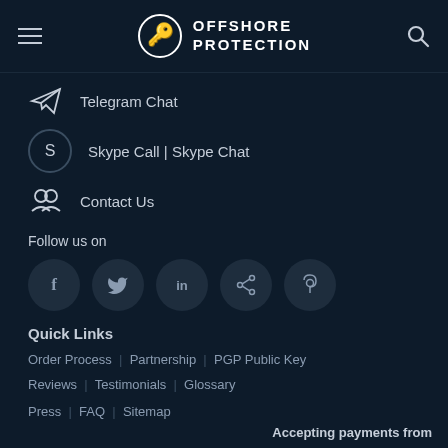OFFSHORE PROTECTION
Telegram Chat
Skype Call | Skype Chat
Contact Us
Follow us on
[Figure (other): Social media icons: Facebook, Twitter, LinkedIn, Share, Pinterest]
Quick Links
Order Process  |  Partnership  |  PGP Public Key
Reviews  |  Testimonials  |  Glossary
Press  |  FAQ  |  Sitemap
Accepting payments from